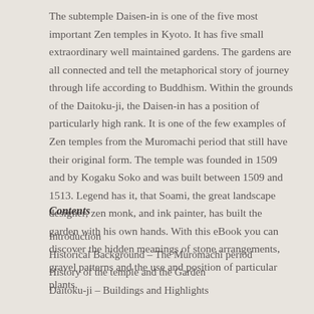The subtemple Daisen-in is one of the five most important Zen temples in Kyoto. It has five small extraordinary well maintained gardens. The gardens are all connected and tell the metaphorical story of journey through life according to Buddhism. Within the grounds of the Daitoku-ji, the Daisen-in has a position of particularly high rank. It is one of the few examples of Zen temples from the Muromachi period that still have their original form. The temple was founded in 1509 and by Kogaku Soko and was built between 1509 and 1513. Legend has it, that Soami, the great landscape designer, zen monk, and ink painter, has built the garden with his own hands. With this eBook you can discover the hidden meanings of stone arrangements, gravel patterns and the use and position of particular plants.
Contents
Introduction
Historical Background – The Muromachi period
History of the temple and the Garden
Daitoku-ji – Buildings and Highlights